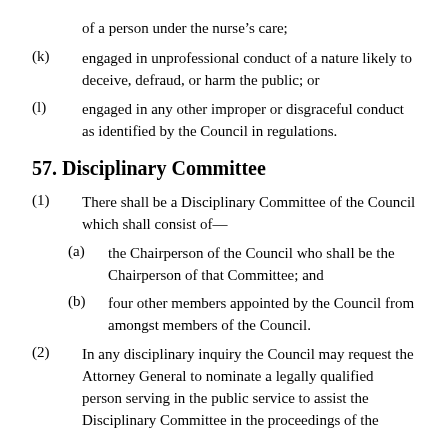of a person under the nurse’s care;
(k) engaged in unprofessional conduct of a nature likely to deceive, defraud, or harm the public; or
(l) engaged in any other improper or disgraceful conduct as identified by the Council in regulations.
57. Disciplinary Committee
(1) There shall be a Disciplinary Committee of the Council which shall consist of—
(a) the Chairperson of the Council who shall be the Chairperson of that Committee; and
(b) four other members appointed by the Council from amongst members of the Council.
(2) In any disciplinary inquiry the Council may request the Attorney General to nominate a legally qualified person serving in the public service to assist the Disciplinary Committee in the proceedings of the